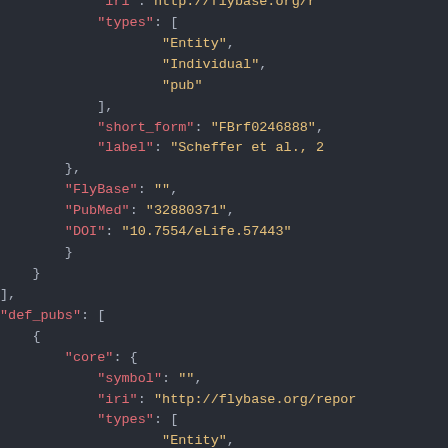[Figure (screenshot): JSON code viewer with dark background showing structured data with keys in pink/red, string values in yellow, and punctuation in light gray. Displays fields: types array with Entity, Individual, pub; short_form FBrf0246888; label Scheffer et al. 2; FlyBase empty string; PubMed 32880371; DOI 10.7554/eLife.57443; closing braces; def_pubs array with core object containing symbol empty string, iri http://flybase.org/repor..., types array starting with Entity.]